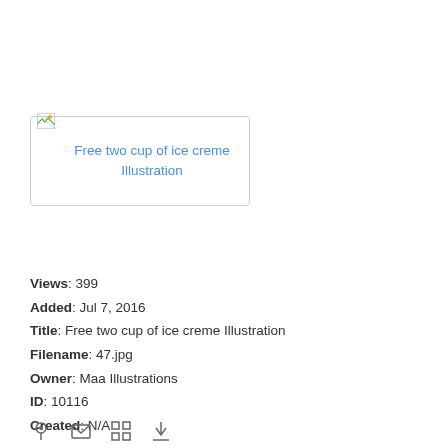[Figure (illustration): Broken image placeholder with link text: Free two cup of ice creme Illustration, shown in a rounded rectangular border]
Views: 399
Added: Jul 7, 2016
Title: Free two cup of ice creme Illustration
Filename: 47.jpg
Owner: Maa Illustrations
ID: 10116
Created: N/A
[Figure (other): Row of small icon symbols: pin/location, envelope/email, grid, download arrow]